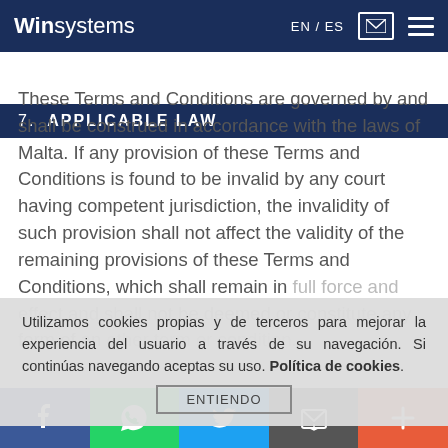Winsystems | EN / ES
7. APPLICABLE LAW
These Terms and Conditions are governed by and shall be construed in accordance with the laws of Malta. If any provision of these Terms and Conditions is found to be invalid by any court having competent jurisdiction, the invalidity of such provision shall not affect the validity of the remaining provisions of these Terms and Conditions, which shall remain in full force and effect and shall not be deemed or constitute any form of an other term or condition.
Utilizamos cookies propias y de terceros para mejorar la experiencia del usuario a través de su navegación. Si continúas navegando aceptas su uso. Política de cookies.
f | WhatsApp | Twitter | Email | +